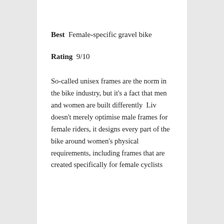Best  Female-specific gravel bike
Rating  9/10
So-called unisex frames are the norm in the bike industry, but it's a fact that men and women are built differently. Liv doesn't merely optimise male frames for female riders, it designs every part of the bike around women's physical requirements, including frames that are created specifically for female cyclists